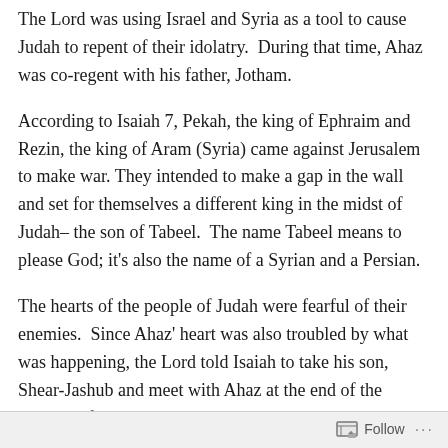The Lord was using Israel and Syria as a tool to cause Judah to repent of their idolatry.  During that time, Ahaz was co-regent with his father, Jotham.
According to Isaiah 7, Pekah, the king of Ephraim and Rezin, the king of Aram (Syria) came against Jerusalem to make war. They intended to make a gap in the wall and set for themselves a different king in the midst of Judah– the son of Tabeel.  The name Tabeel means to please God; it's also the name of a Syrian and a Persian.
The hearts of the people of Judah were fearful of their enemies.  Since Ahaz' heart was also troubled by what was happening, the Lord told Isaiah to take his son, Shear-Jashub and meet with Ahaz at the end of the aqueduct from the upper
Follow ···